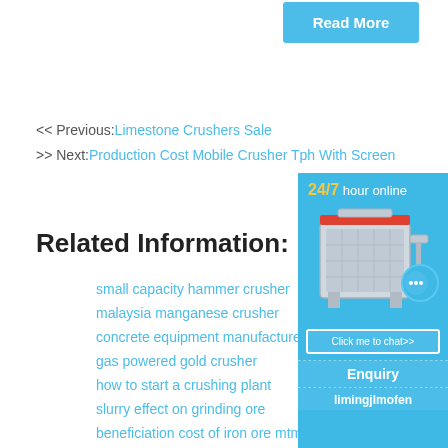Read More
<< Previous:Limestone Crushers Sale
>> Next:Production Cost Mobile Crusher Tph With Screen
Related Information:
small capacity hammer crusher
malaysia manganese crusher
concrete equipment manufacturers
gas powered gold crusher
how to start a crushing plant
slurry effect on grinding ore
beneficiation cost of iron ore mtm ...
[Figure (illustration): Sidebar with 24/7 hour online text, crusher machine image, chat bubble with dots, Click me to chat>> button, Enquiry section, and limingjlmofen text]
24/7 hour online
Click me to chat>>
Enquiry
limingjlmofen